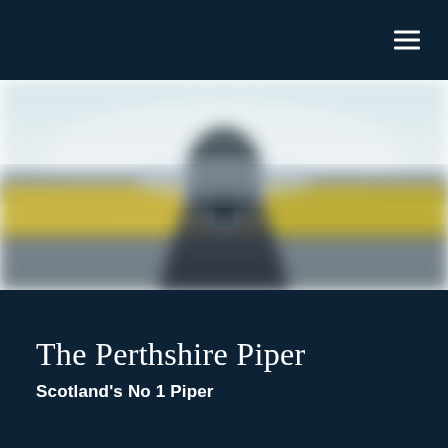[Figure (photo): Blurred outdoor landscape photo showing a road or path leading into the distance, with yellow fields on either side and a large tree silhouetted in the center background under a pale grey-blue sky]
The Perthshire Piper
Scotland's No 1 Piper